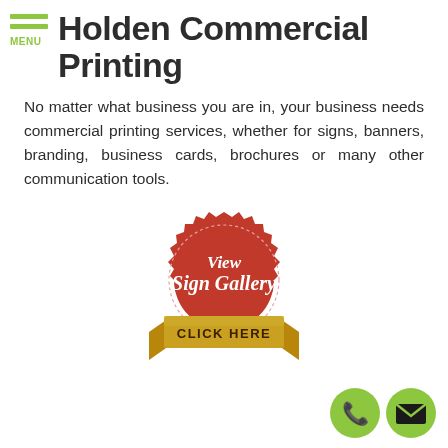MENU
Holden Commercial Printing
No matter what business you are in, your business needs commercial printing services, whether for signs, banners, branding, business cards, brochures or many other communication tools.
[Figure (illustration): Red seal badge with gold ribbon banner. Text reads 'View Sign Gallery' in white script and 'CLICK HERE' in gold on the ribbon banner.]
[Figure (illustration): Two green circle buttons: phone icon and envelope/mail icon.]